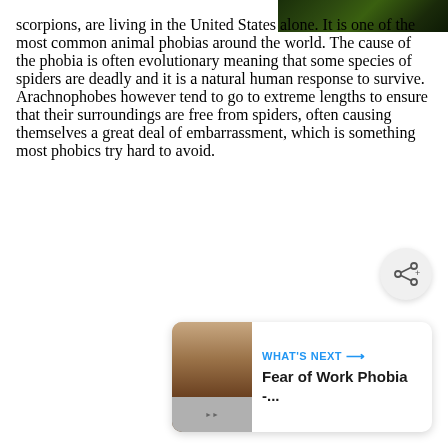[Figure (photo): Close-up photo of a spider or scorpion on dark green background, partially visible at top right corner]
scorpions, are living in the United States alone. It is one of the most common animal phobias around the world. The cause of the phobia is often evolutionary meaning that some species of spiders are deadly and it is a natural human response to survive. Arachnophobes however tend to go to extreme lengths to ensure that their surroundings are free from spiders, often causing themselves a great deal of embarrassment, which is something most phobics try hard to avoid.
[Figure (other): Share button icon (circular button with share/network icon)]
[Figure (screenshot): What's Next card showing thumbnail image and text: WHAT'S NEXT → Fear of Work Phobia -...]